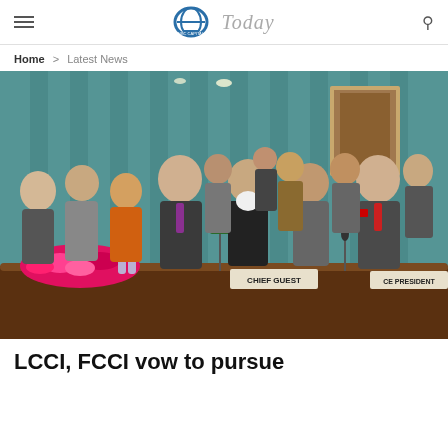Today (news website header with logo)
Home > Latest News
[Figure (photo): Group photo of business delegates at a formal meeting room. People are standing behind a conference table with flowers and nameplates reading 'CHIEF GUEST' and 'VICE PRESIDENT'. A man in a dark suit is exchanging/presenting a plaque or award with another dignitary. The room has teal-colored striped walls and framed artwork.]
LCCI, FCCI vow to pursue